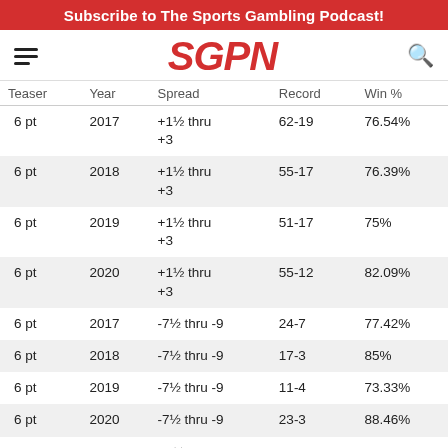Subscribe to The Sports Gambling Podcast!
[Figure (logo): SGPN logo with hamburger menu and search icon navigation bar]
| Teaser | Year | Spread | Record | Win % |
| --- | --- | --- | --- | --- |
| 6 pt | 2017 | +1½ thru +3 | 62-19 | 76.54% |
| 6 pt | 2018 | +1½ thru +3 | 55-17 | 76.39% |
| 6 pt | 2019 | +1½ thru +3 | 51-17 | 75% |
| 6 pt | 2020 | +1½ thru +3 | 55-12 | 82.09% |
| 6 pt | 2017 | -7½ thru -9 | 24-7 | 77.42% |
| 6 pt | 2018 | -7½ thru -9 | 17-3 | 85% |
| 6 pt | 2019 | -7½ thru -9 | 11-4 | 73.33% |
| 6 pt | 2020 | -7½ thru -9 | 23-3 | 88.46% |
| 10 pt | 2017 | +1½ thru +2½ | 34-7 | 82.93% |
| 10 pt | 2018 | +1½ thru +2½ | 32-3 | 91.43% |
| 10 pt | 2019 | +1½ thru | 33-5 | 86.84% |